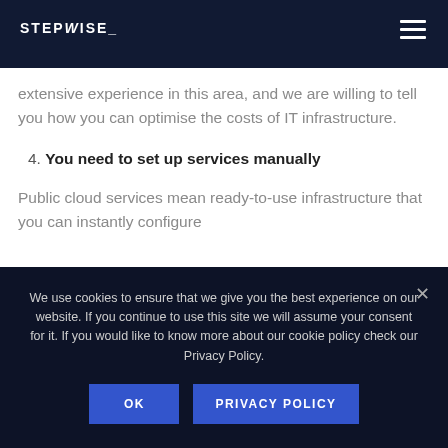STEPWISE_
extensive experience in this area, and we are willing to tell you how you can optimise the costs of IT infrastructure.
4. You need to set up services manually
Public cloud services mean ready-to-use infrastructure that you can instantly configure
We use cookies to ensure that we give you the best experience on our website. If you continue to use this site we will assume your consent for it. If you would like to know more about our cookie policy check our Privacy Policy.